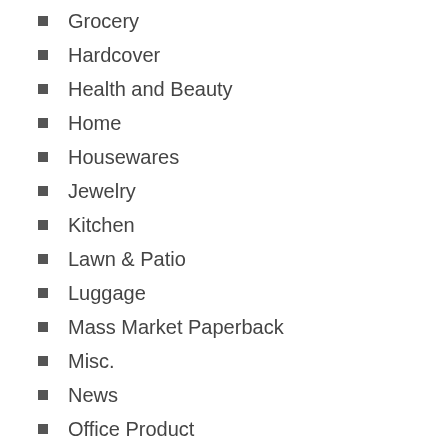Grocery
Hardcover
Health and Beauty
Home
Housewares
Jewelry
Kitchen
Lawn & Patio
Luggage
Mass Market Paperback
Misc.
News
Office Product